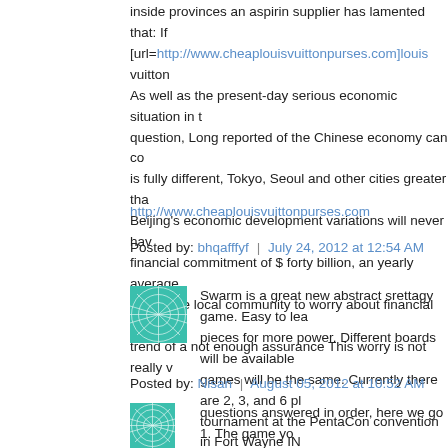inside provinces an aspirin supplier has lamented that: If [url=http://www.cheaplouisvuittonpurses.com]louis vuitton As well as the present-day serious economic situation in t question, Long reported of the Chinese economy can co is fully different, Tokyo, Seoul and other cities greater tha Beijing's economic development variations will never hav financial commitment of $ forty billion, an yearly average worldwide local community to worry about financial phen trend of a not enough assurance This worry is not really v
http://www.cheaplouisvuittonpurses.com
Posted by: bhqafffyf | July 24, 2012 at 12:54 AM
[Figure (illustration): Teal/green geometric abstract circular pattern avatar image]
Swarm is a great new abstract srettagy game. Easy to lea pieces for more power. Different boards will be available games will be the same. Currently there are 2, 3, and 6 pl tournament at the PentaCon convention in Fort Wayne IN
Posted by: Nisan | August 05, 2012 at 10:52 AM
[Figure (illustration): Teal/green geometric abstract circular pattern avatar image]
questions answered in order, here we go 1. The game yo SMB The Lost levels. These were all recreated using the , game. Unfortunatly, since that incarnation, the only way y